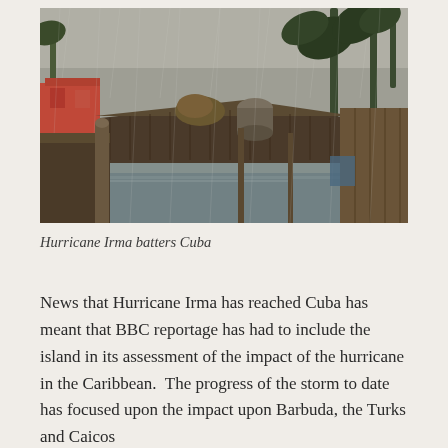[Figure (photo): Hurricane Irma battering Cuba — flooded streets and rooftops with trees bending in strong winds and heavy rainfall]
Hurricane Irma batters Cuba
News that Hurricane Irma has reached Cuba has meant that BBC reportage has had to include the island in its assessment of the impact of the hurricane in the Caribbean.  The progress of the storm to date has focused upon the impact upon Barbuda, the Turks and Caicos